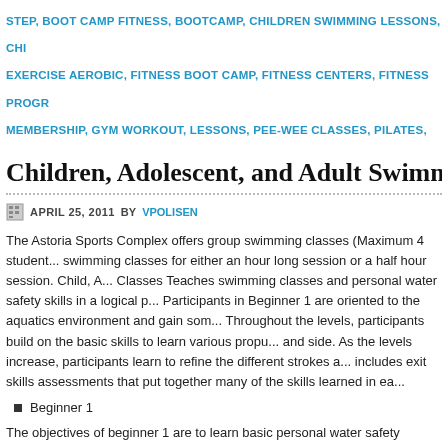STEP, BOOT CAMP FITNESS, BOOTCAMP, CHILDREN SWIMMING LESSONS, CHI... EXERCISE AEROBIC, FITNESS BOOT CAMP, FITNESS CENTERS, FITNESS PROGR... MEMBERSHIP, GYM WORKOUT, LESSONS, PEE-WEE CLASSES, PILATES, PRIVAT... PRIVATE SWIM CLASSES, PRIVATE SWIM LESSONS, STEP AEROBICS, STEP AERO... ASTORIA, SWIMMING LESSONS, SWIMMING POOLS, SWIMMUNG LESSONS, WOR...
Children, Adolescent, and Adult Swimming Classes As...
APRIL 25, 2011 BY VPOLISEN
The Astoria Sports Complex offers group swimming classes (Maximum 4 student... swimming classes for either an hour long session or a half hour session. Child, A... Classes Teaches swimming classes and personal water safety skills in a logical p... Participants in Beginner 1 are oriented to the aquatics environment and gain som... Throughout the levels, participants build on the basic skills to learn various propu... and side. As the levels increase, participants learn to refine the different strokes a... includes exit skills assessments that put together many of the skills learned in ea...
Beginner 1
The objectives of beginner 1 are to learn basic personal water safety information... comfortable in the water and to enjoy the water safely. In beginner 1, the participa... At this level, the participants start developing positive attitudes, good swimming h... around water.